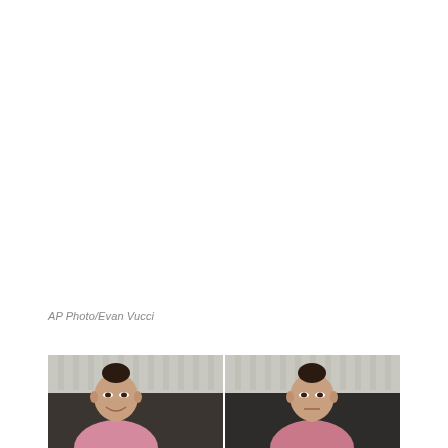AP Photo/Evan Vucci
[Figure (photo): Side-by-side photos of a young woman in a pink top with hair up in a bun, seated on a dark sofa with striped curtains in the background. Left photo shows her smiling with hand near chin; right photo shows a similar pose with a more neutral expression.]